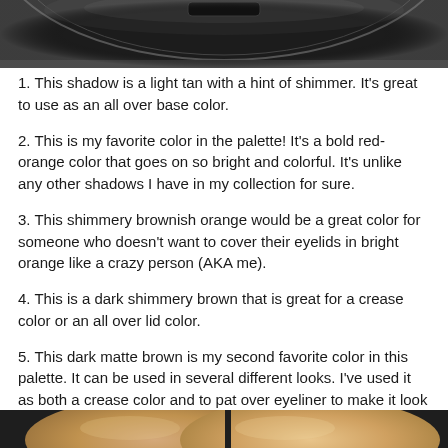[Figure (photo): Top portion of a circular black makeup palette lid, photographed from above on a white background.]
1. This shadow is a light tan with a hint of shimmer. It's great to use as an all over base color.
2. This is my favorite color in the palette! It's a bold red-orange color that goes on so bright and colorful. It's unlike any other shadows I have in my collection for sure.
3. This shimmery brownish orange would be a great color for someone who doesn't want to cover their eyelids in bright orange like a crazy person (AKA me).
4. This is a dark shimmery brown that is great for a crease color or an all over lid color.
5. This dark matte brown is my second favorite color in this palette. It can be used in several different looks. I've used it as both a crease color and to pat over eyeliner to make it look softer.
[Figure (photo): Bottom cropped portion showing two oval-shaped eyeshadow pans with warm skin-tone/tan colors in a palette, partially visible.]